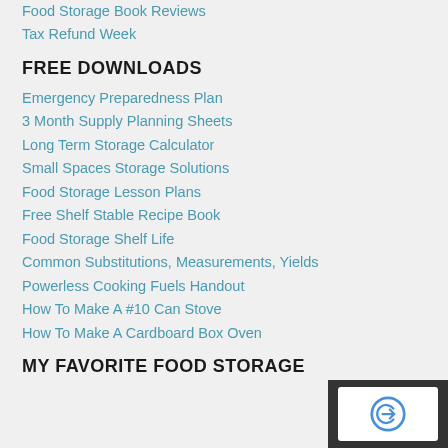Food Storage Book Reviews
Tax Refund Week
FREE DOWNLOADS
Emergency Preparedness Plan
3 Month Supply Planning Sheets
Long Term Storage Calculator
Small Spaces Storage Solutions
Food Storage Lesson Plans
Free Shelf Stable Recipe Book
Food Storage Shelf Life
Common Substitutions, Measurements, Yields
Powerless Cooking Fuels Handout
How To Make A #10 Can Stove
How To Make A Cardboard Box Oven
MY FAVORITE FOOD STORAGE